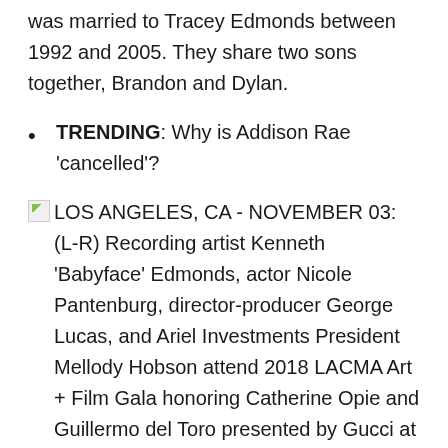was married to Tracey Edmonds between 1992 and 2005. They share two sons together, Brandon and Dylan.
TRENDING: Why is Addison Rae 'cancelled'?
LOS ANGELES, CA - NOVEMBER 03: (L-R) Recording artist Kenneth 'Babyface' Edmonds, actor Nicole Pantenburg, director-producer George Lucas, and Ariel Investments President Mellody Hobson attend 2018 LACMA Art + Film Gala honoring Catherine Opie and Guillermo del Toro presented by Gucci at LACMA on November 3, 2018 in Los Angeles, California. (Photo by